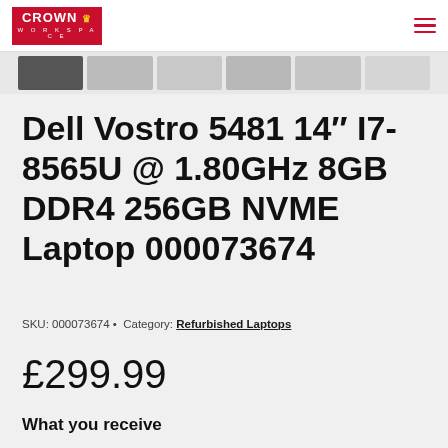CROWN WORKSPACE
[Figure (screenshot): Thumbnail image strip showing multiple small product images of the laptop]
Dell Vostro 5481 14" I7- 8565U @ 1.80GHz 8GB DDR4 256GB NVME Laptop 000073674
SKU: 000073674 • Category: Refurbished Laptops
£299.99
What you receive